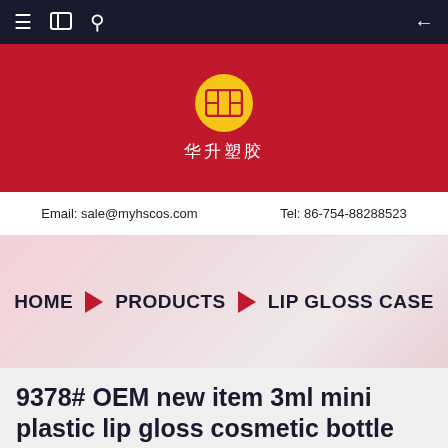Navigation bar with menu, bookmark, search icons and back arrow
[Figure (logo): Brand logo circle with HS monogram in yellow circle on red background, with Chinese text 华升塑胶 below]
Email: sale@myhscos.com    Tel: 86-754-88288523
[Figure (infographic): Breadcrumb banner with soft pink background showing: HOME ▶ PRODUCTS ▶ LIP GLOSS CASE]
9378# OEM new item 3ml mini plastic lip gloss cosmetic bottle with brush
[Figure (logo): Large dark red circular logo with HS monogram]